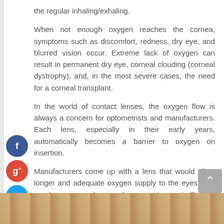the regular inhaling/exhaling.
When not enough oxygen reaches the cornea, symptoms such as discomfort, redness, dry eye, and blurred vision occur. Extreme lack of oxygen can result in permanent dry eye, corneal clouding (corneal dystrophy), and, in the most severe cases, the need for a corneal transplant.
In the world of contact lenses, the oxygen flow is always a concern for optometrists and manufacturers. Each lens, especially in their early years, automatically becomes a barrier to oxygen on insertion.
Manufacturers come up with a lens that would allow longer and adequate oxygen supply to the eyes. You can know more about such contact lenses in Toronto via https://drdorioeyecare.com/services/choosing-your-contact-lenses.
[Figure (photo): Close-up photo of a person's face, partially visible at the bottom of the page]